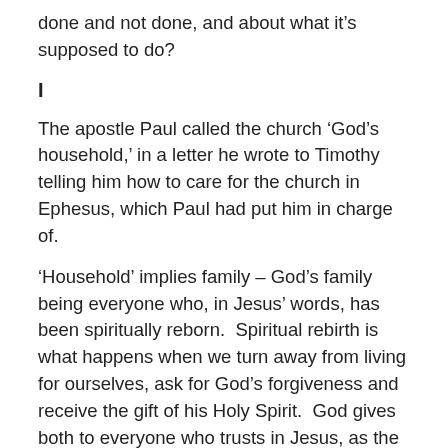done and not done, and about what it's supposed to do?
I
The apostle Paul called the church 'God's household,' in a letter he wrote to Timothy telling him how to care for the church in Ephesus, which Paul had put him in charge of.
'Household' implies family – God's family being everyone who, in Jesus' words, has been spiritually reborn. Spiritual rebirth is what happens when we turn away from living for ourselves, ask for God's forgiveness and receive the gift of his Holy Spirit. God gives both to everyone who trusts in Jesus, as the one God sent to deal on our behalf with the sin and suffering and death we're all subject to.
As members of God's family, Christians are meant to bring honour to the family name.